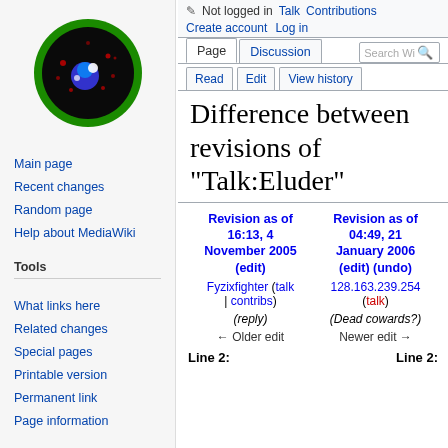[Figure (logo): Wikipedia globe logo with green circular border on dark background with colored spots]
Main page
Recent changes
Random page
Help about MediaWiki
Tools
What links here
Related changes
Special pages
Printable version
Permanent link
Page information
Not logged in  Talk  Contributions  Create account  Log in  Page  Discussion  Read  Edit  View history  Search
Difference between revisions of "Talk:Eluder"
| Revision as of 16:13, 4 November 2005 (edit) | Revision as of 04:49, 21 January 2006 (edit) (undo) |
| --- | --- |
| Fyzixfighter (talk | contribs) | 128.163.239.254 (talk) |
| (reply) | (Dead cowards?) |
| ← Older edit | Newer edit → |
Line 2:	Line 2: